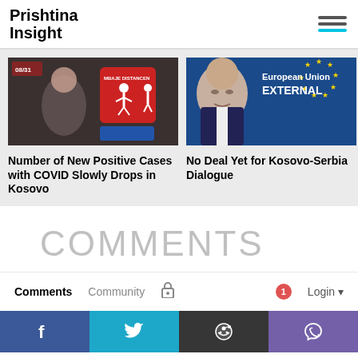Prishtina Insight
[Figure (photo): Photo of a person with COVID social distancing sign in background]
[Figure (photo): Man in suit in front of European Union External sign]
Number of New Positive Cases with COVID Slowly Drops in Kosovo
No Deal Yet for Kosovo-Serbia Dialogue
COMMENTS
Comments   Community   Login
[Figure (infographic): Social media sharing buttons: Facebook, Twitter, Reddit, Viber]